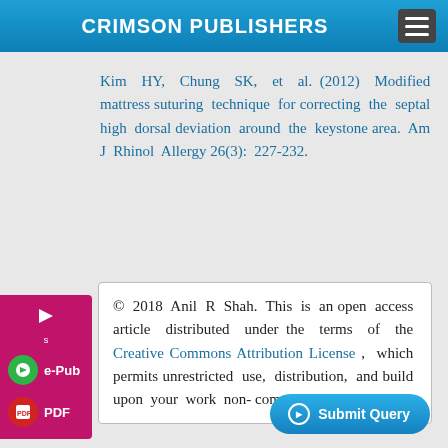CRIMSON PUBLISHERS
Kim HY, Chung SK, et al. (2012) Modified mattress suturing technique for correcting the septal high dorsal deviation around the keystone area. Am J Rhinol Allergy 26(3): 227-232.
© 2018 Anil R Shah. This is an open access article distributed under the terms of the Creative Commons Attribution License , which permits unrestricted use, distribution, and build upon your work non-commercially.